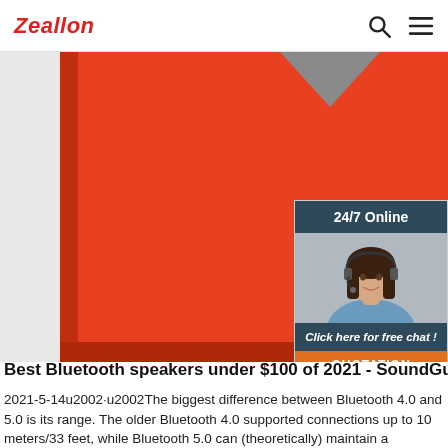Zeallon
[Figure (photo): Orange Bluetooth speaker product photo, close-up view of a bright orange rectangular speaker box with a small Bluetooth logo visible at the top. There is also an overlaid chat widget showing a woman with a headset and text '24/7 Online', 'Click here for free chat!', and a 'QUOTATION' button.]
Best Bluetooth speakers under $100 of 2021 - SoundGuys
2021-5-14u2002·u2002The biggest difference between Bluetooth 4.0 and 5.0 is its range. The older Bluetooth 4.0 supported connections up to 10 meters/33 feet, while Bluetooth 5.0 can (theoretically) maintain a connection at a range of 243 meters/800 feet. If you're planning to have your smartphone very very far away from your Bluetooth speaker, consider looking for ...